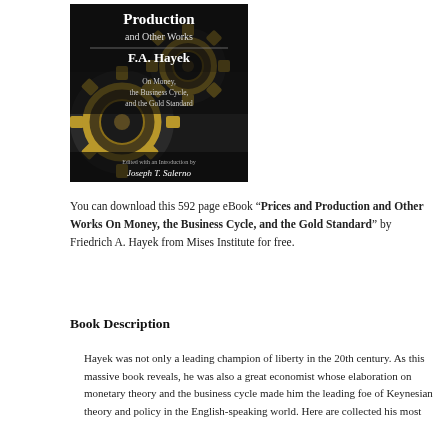[Figure (illustration): Book cover of 'Prices and Production and Other Works: F.A. Hayek On Money, the Business Cycle, and the Gold Standard', edited with an introduction by Joseph T. Salerno. Cover features an image of interlocked gold gears on a dark background.]
You can download this 592 page eBook “Prices and Production and Other Works On Money, the Business Cycle, and the Gold Standard” by Friedrich A. Hayek from Mises Institute for free.
Book Description
Hayek was not only a leading champion of liberty in the 20th century. As this massive book reveals, he was also a great economist whose elaboration on monetary theory and the business cycle made him the leading foe of Keynesian theory and policy in the English-speaking world. Here are collected his most